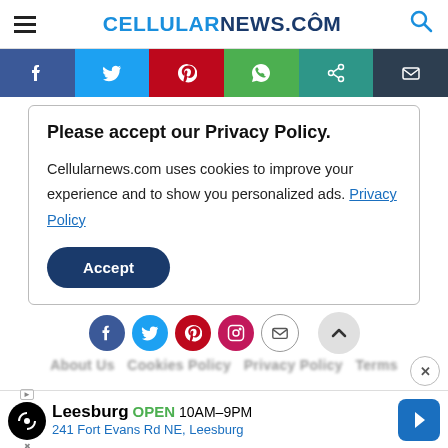CELLULARNEWS.COM
[Figure (infographic): Social share bar with icons: Facebook, Twitter, Pinterest, WhatsApp, Share, Email]
Please accept our Privacy Policy.
Cellularnews.com uses cookies to improve your experience and to show you personalized ads. Privacy Policy
[Figure (infographic): Accept button (rounded dark blue pill button)]
[Figure (infographic): Bottom social icons: Facebook, Twitter, Pinterest, Instagram, Email, and scroll-to-top arrow button]
About Us Cookies Policy Privacy Policy Terms
[Figure (infographic): Ad banner: Leesburg OPEN 10AM-9PM 241 Fort Evans Rd NE, Leesburg with navigation arrow]